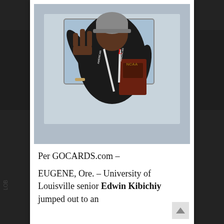[Figure (photo): A man wearing a grey knit beanie, a University of Louisville athletic jacket with 'AMERICAN' lanyards/medals around his neck, holding an NCAA trophy/award plaque with a large gold medal. He is making a hand gesture with three fingers raised. Background shows a building exterior.]
Per GOCARDS.com –

EUGENE, Ore. – University of Louisville senior Edwin Kibichiy jumped out to an